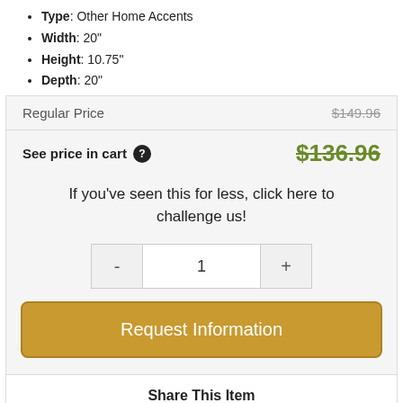Type: Other Home Accents
Width: 20"
Height: 10.75"
Depth: 20"
Regular Price  $149.96
See price in cart ?  $136.96
If you've seen this for less, click here to challenge us!
- 1 +
Request Information
Share This Item